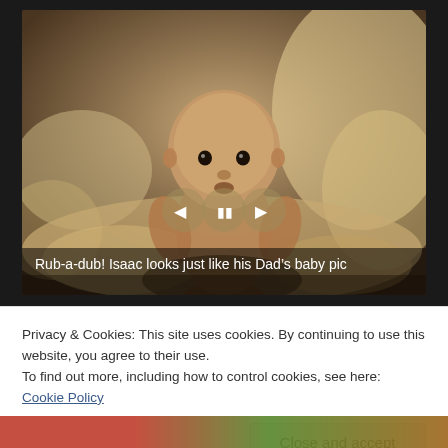[Figure (photo): Sepia-toned photo of a baby sitting in a bathtub surrounded by bubbles, looking at the camera. Slideshow controls (prev, pause, next) overlaid in center. Caption reads: Rub-a-dub! Isaac looks just like his Dad's baby pic]
Privacy & Cookies: This site uses cookies. By continuing to use this website, you agree to their use.
To find out more, including how to control cookies, see here: Cookie Policy
Close and accept